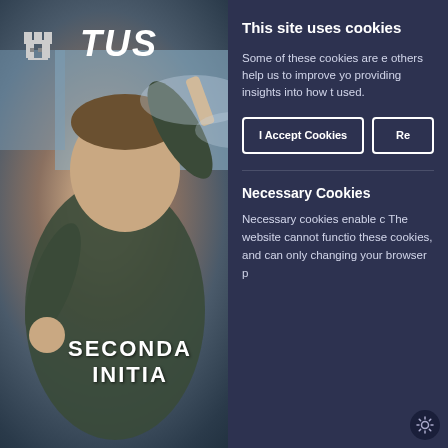[Figure (photo): A smiling young man in a dark green jacket holding a rolled diploma/certificate, pointing toward camera. Blue sky background. TUS university logo in top-left corner with castle icon and 'TUS' text.]
SECONDA INITIA
This site uses cookies
Some of these cookies are e others help us to improve yo providing insights into how t used.
I Accept Cookies
Re
Necessary Cookies
Necessary cookies enable c The website cannot functio these cookies, and can only changing your browser p